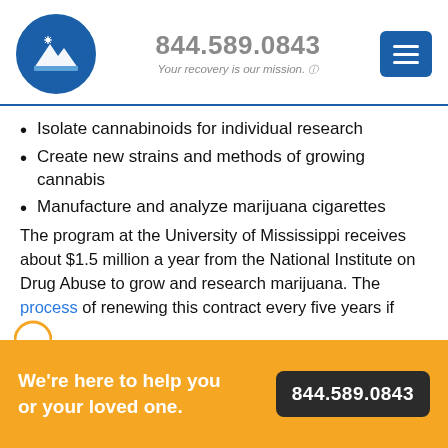[Figure (logo): Circular blue logo with mountain/landscape silhouette and small snowflake/star icon]
844.589.0843
Your recovery is our mission.
[Figure (other): Blue menu/hamburger button with three white lines]
Isolate cannabinoids for individual research
Create new strains and methods of growing cannabis
Manufacture and analyze marijuana cigarettes
The program at the University of Mississippi receives about $1.5 million a year from the National Institute on Drug Abuse to grow and research marijuana. The process of renewing this contract every five years if
We're here to help you or your loved one.
844.589.0843